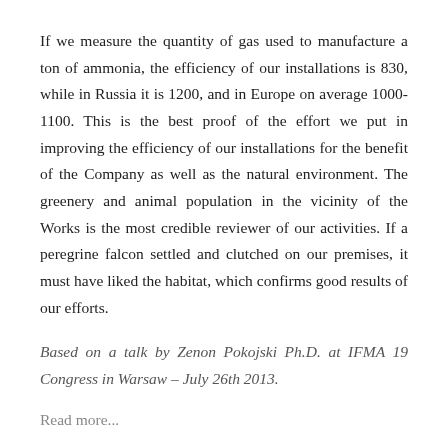If we measure the quantity of gas used to manufacture a ton of ammonia, the efficiency of our installations is 830, while in Russia it is 1200, and in Europe on average 1000-1100. This is the best proof of the effort we put in improving the efficiency of our installations for the benefit of the Company as well as the natural environment. The greenery and animal population in the vicinity of the Works is the most credible reviewer of our activities. If a peregrine falcon settled and clutched on our premises, it must have liked the habitat, which confirms good results of our efforts.
Based on a talk by Zenon Pokojski Ph.D. at IFMA 19 Congress in Warsaw – July 26th 2013.
Read more...